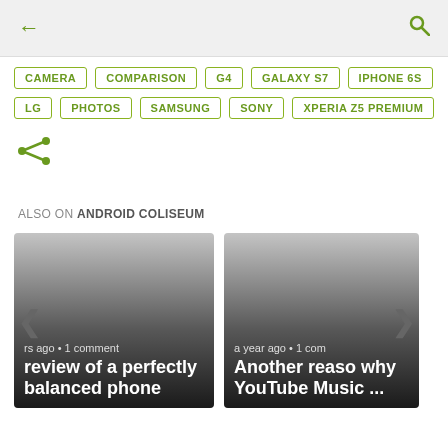← (back) and 🔍 (search)
CAMERA
COMPARISON
G4
GALAXY S7
IPHONE 6S
LG
PHOTOS
SAMSUNG
SONY
XPERIA Z5 PREMIUM
[Figure (infographic): Share icon (less-than symbol style)]
ALSO ON ANDROID COLISEUM
[Figure (screenshot): Card: 'rs ago • 1 comment' / 'review of a perfectly balanced phone']
[Figure (screenshot): Card: 'a year ago • 1 com' / 'Another reason why YouTube Music ...']